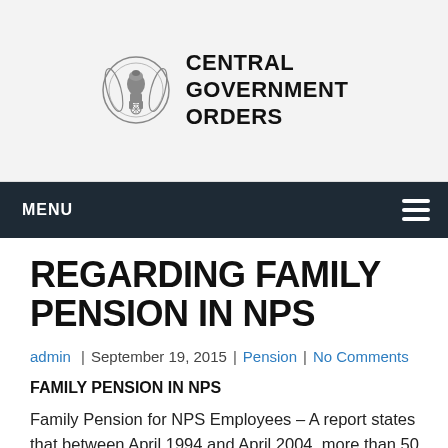CENTRAL GOVERNMENT ORDERS
REGARDING FAMILY PENSION IN NPS
admin | September 19, 2015 | Pension | No Comments
FAMILY PENSION IN NPS
Family Pension for NPS Employees – A report states that between April 1994 and April 2004, more than 50 lakh youths joined Government Services. However, the same dropped to around 33 Lakhs after April 2004. Experts blame the Governments' decision to abolish pension for this, which forced the youths to move towards the corporate sector.
The 33 lakh Central and State Government employees who have